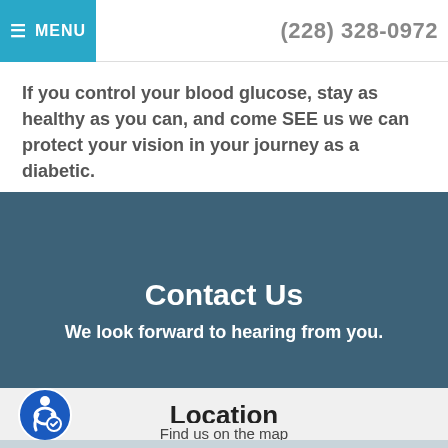☰ MENU   (228) 328-0972
If you control your blood glucose, stay as healthy as you can, and come SEE us we can protect your vision in your journey as a diabetic.
Contact Us
We look forward to hearing from you.
Location
Find us on the map
[Figure (map): Partial map view shown at the bottom of the page]